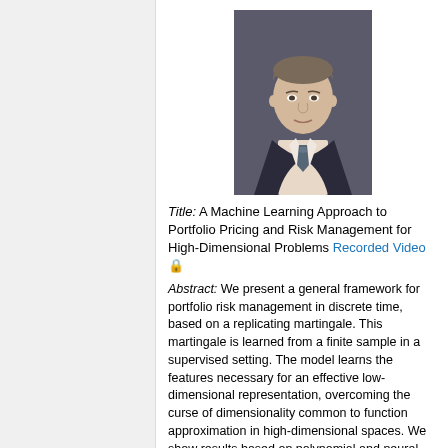[Figure (photo): Professional headshot of a man in a dark suit and tie, light shirt, against a dark background.]
Title: A Machine Learning Approach to Portfolio Pricing and Risk Management for High-Dimensional Problems Recorded Video 🔒
Abstract: We present a general framework for portfolio risk management in discrete time, based on a replicating martingale. This martingale is learned from a finite sample in a supervised setting. The model learns the features necessary for an effective low-dimensional representation, overcoming the curse of dimensionality common to function approximation in high-dimensional spaces. We show results based on polynomial and neural network bases. Both offer superior results to naive Monte Carlo methods and other exist[isMath]